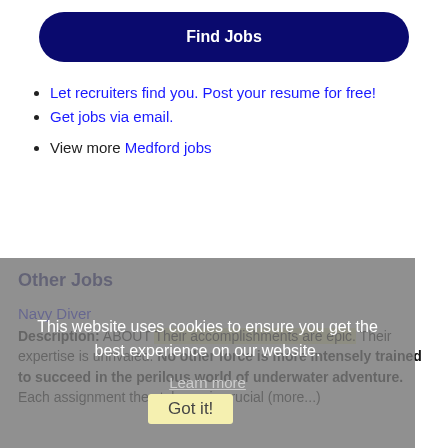Find Jobs
Let recruiters find you. Post your resume for free!
Get jobs via email.
View more Medford jobs
This website uses cookies to ensure you get the best experience on our website.
Learn more
Other Jobs
Navy Diver
Description: ABOUT Their accomplishments are epic. Their expertise is unrivaled. No other force is more intensely trained to succeed in the perilous world of underwater adventure. Each assignment they take on is crucial (more...)
Got it!